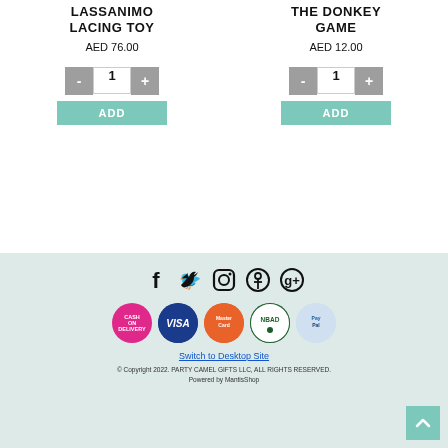LASSANIMO LACING TOY
AED 76.00
THE DONKEY GAME
AED 12.00
[Figure (screenshot): Quantity selector with minus button, input field showing 1, plus button, and ADD button below for first product]
[Figure (screenshot): Quantity selector with minus button, input field showing 1, plus button, and ADD button below for second product]
[Figure (infographic): Social media icons: Facebook, Twitter, Instagram, Pinterest, Google+]
[Figure (infographic): Payment method icons: Cash on Delivery, Visa, MasterCard, NBAD, PayPal]
Switch to Desktop Site
© Copyright 2022. PARTY CAMEL GIFTS LLC, ALL RIGHTS RESERVED.
Powered by MantisShop